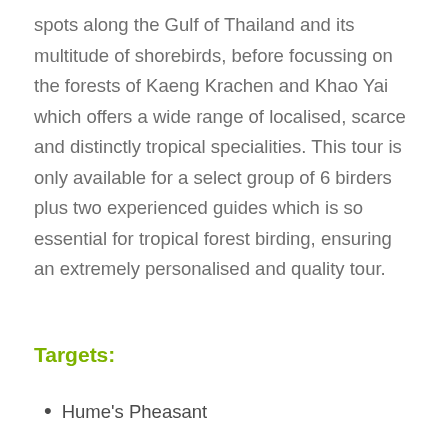spots along the Gulf of Thailand and its multitude of shorebirds, before focussing on the forests of Kaeng Krachen and Khao Yai which offers a wide range of localised, scarce and distinctly tropical specialities. This tour is only available for a select group of 6 birders plus two experienced guides which is so essential for tropical forest birding, ensuring an extremely personalised and quality tour.
Targets:
Hume's Pheasant